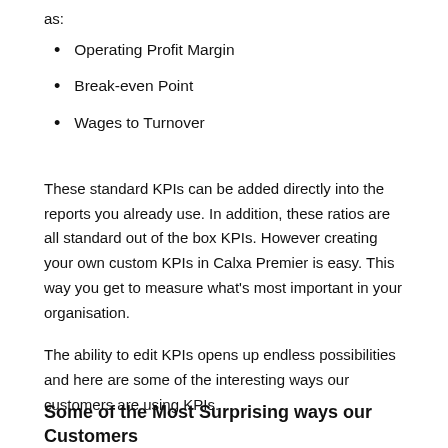as:
Operating Profit Margin
Break-even Point
Wages to Turnover
These standard KPIs can be added directly into the reports you already use. In addition, these ratios are all standard out of the box KPIs. However creating your own custom KPIs in Calxa Premier is easy. This way you get to measure what's most important in your organisation.
The ability to edit KPIs opens up endless possibilities and here are some of the interesting ways our customers are using KPIs.
Some of the Most Surprising ways our Customers